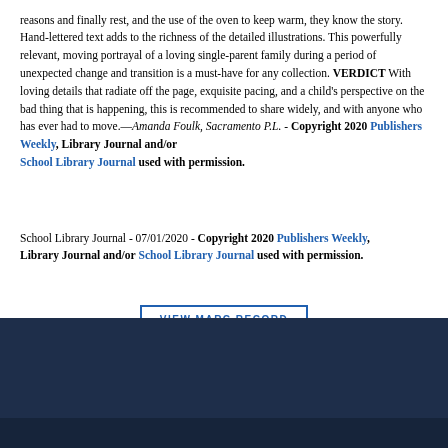reasons and finally rest, and the use of the oven to keep warm, they know the story. Hand-lettered text adds to the richness of the detailed illustrations. This powerfully relevant, moving portrayal of a loving single-parent family during a period of unexpected change and transition is a must-have for any collection. VERDICT With loving details that radiate off the page, exquisite pacing, and a child's perspective on the bad thing that is happening, this is recommended to share widely, and with anyone who has ever had to move.—Amanda Foulk, Sacramento P.L. - Copyright 2020 Publishers Weekly, Library Journal and/or School Library Journal used with permission.
School Library Journal - 07/01/2020 - Copyright 2020 Publishers Weekly, Library Journal and/or School Library Journal used with permission.